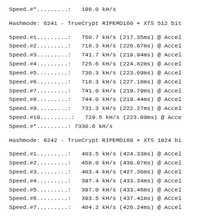Speed.#*.........:   198.0 kH/s
Hashmode: 6241 - TrueCrypt RIPEMD160 + XTS 512 bit
Speed.#1.........:   750.7 kH/s (217.35ms) @ Accel
Speed.#2.........:   718.3 kH/s (226.67ms) @ Accel
Speed.#3.........:   741.7 kH/s (219.94ms) @ Accel
Speed.#4.........:   725.6 kH/s (224.82ms) @ Accel
Speed.#5.........:   730.3 kH/s (223.69ms) @ Accel
Speed.#6.........:   718.3 kH/s (227.18ms) @ Accel
Speed.#7.........:   741.0 kH/s (219.79ms) @ Accel
Speed.#8.........:   744.0 kH/s (219.44ms) @ Accel
Speed.#9.........:   731.3 kH/s (222.27ms) @ Accel
Speed.#10.........:   729.5 kH/s (223.09ms) @ Acce
Speed.#*.........: 7330.6 kH/s
Hashmode: 6242 - TrueCrypt RIPEMD160 + XTS 1024 bi
Speed.#1.........:   403.5 kH/s (424.33ms) @ Accel
Speed.#2.........:   458.0 kH/s (439.07ms) @ Accel
Speed.#3.........:   403.4 kH/s (427.36ms) @ Accel
Speed.#4.........:   397.4 kH/s (433.34ms) @ Accel
Speed.#5.........:   397.0 kH/s (433.46ms) @ Accel
Speed.#6.........:   393.5 kH/s (437.41ms) @ Accel
Speed.#7.........:   404.2 kH/s (426.24ms) @ Accel